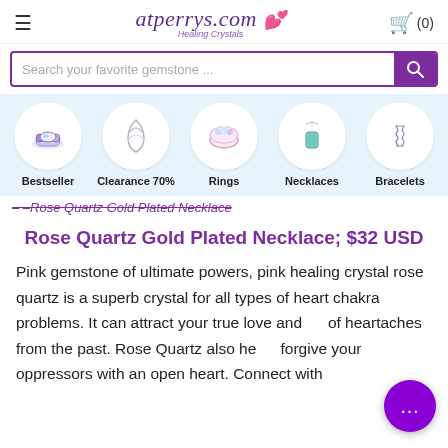≡  atperrys.com Healing Crystals  🛒 (0)
Search your favorite gemstone ...
[Figure (screenshot): Category navigation strip with circular icons for: Bestseller, Clearance 70%, Rings, Necklaces, Bracelets]
– –Rose Quartz Gold Plated Necklace
Rose Quartz Gold Plated Necklace; $32 USD
Pink gemstone of ultimate powers, pink healing crystal rose quartz is a superb crystal for all types of heart chakra problems. It can attract your true love and rid of heartaches from the past. Rose Quartz also helps forgive your oppressors with an open heart. Connect with